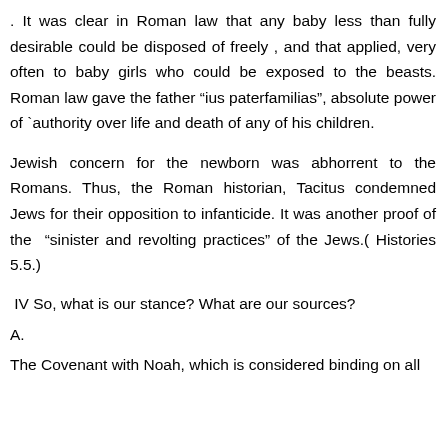. It was clear in Roman law that any baby less than fully desirable could be disposed of freely , and that applied, very often to baby girls who could be exposed to the beasts. Roman law gave the father “ius paterfamilias”, absolute power of `authority over life and death of any of his children.
Jewish concern for the newborn was abhorrent to the Romans. Thus, the Roman historian, Tacitus condemned Jews for their opposition to infanticide. It was another proof of the “sinister and revolting practices” of the Jews.( Histories 5.5.)
IV So, what is our stance? What are our sources?
A.
The Covenant with Noah, which is considered binding on all